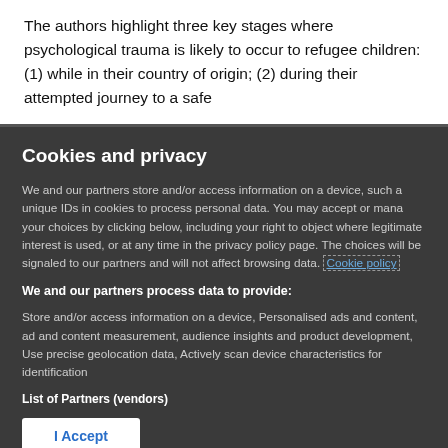The authors highlight three key stages where psychological trauma is likely to occur to refugee children: (1) while in their country of origin; (2) during their attempted journey to a safe
Cookies and privacy
We and our partners store and/or access information on a device, such as unique IDs in cookies to process personal data. You may accept or manage your choices by clicking below, including your right to object where legitimate interest is used, or at any time in the privacy policy page. These choices will be signaled to our partners and will not affect browsing data. Cookie policy
We and our partners process data to provide:
Store and/or access information on a device, Personalised ads and content, ad and content measurement, audience insights and product development, Use precise geolocation data, Actively scan device characteristics for identification
List of Partners (vendors)